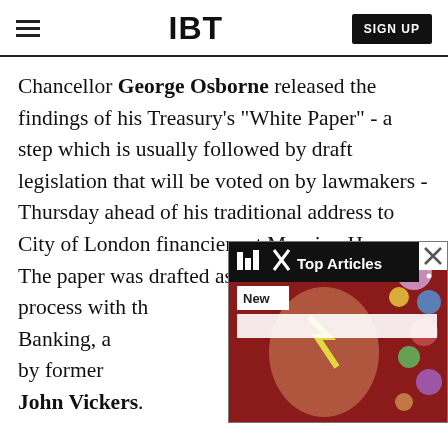IBT | SIGN UP
Chancellor George Osborne released the findings of his Treasury's "White Paper" - a step which is usually followed by draft legislation that will be voted on by lawmakers - Thursday ahead of his traditional address to City of London financiers at Mansion House. The paper was drafted as part of a consultation process with the Independent Commission on Banking, a body set up by the Treasury and led by former Bank of England Chief Economist John Vickers.
[Figure (screenshot): Popup overlay showing Top Articles widget with 'New' label and an image of a person with Ziggy Stardust-style face paint on a red background with colorful spheres]